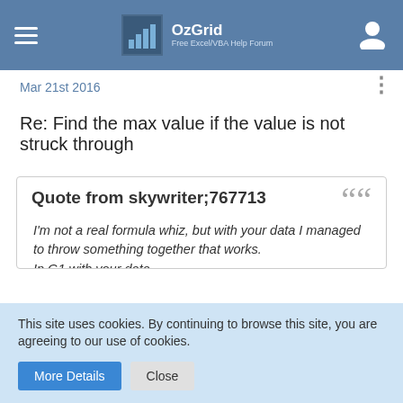OzGrid Free Excel/VBA Help Forum
Mar 21st 2016
Re: Find the max value if the value is not struck through
Quote from skywriter;767713

I'm not a real formula whiz, but with your data I managed to throw something together that works.
In G1 with your data.
This site uses cookies. By continuing to browse this site, you are agreeing to our use of cookies.